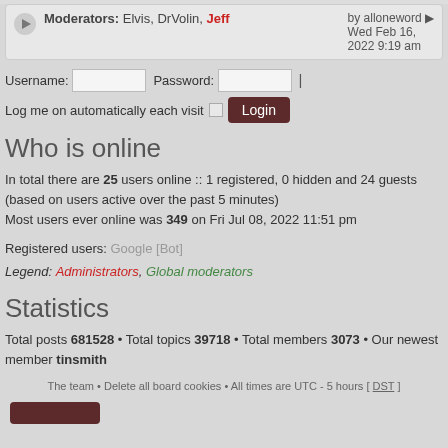Moderators: Elvis, DrVolin, Jeff | by alloneword ▶ Wed Feb 16, 2022 9:19 am
Username: [input] Password: [input] | Log me on automatically each visit [checkbox] Login
Who is online
In total there are 25 users online :: 1 registered, 0 hidden and 24 guests (based on users active over the past 5 minutes)
Most users ever online was 349 on Fri Jul 08, 2022 11:51 pm
Registered users: Google [Bot]
Legend: Administrators, Global moderators
Statistics
Total posts 681528 • Total topics 39718 • Total members 3073 • Our newest member tinsmith
The team • Delete all board cookies • All times are UTC - 5 hours [ DST ]